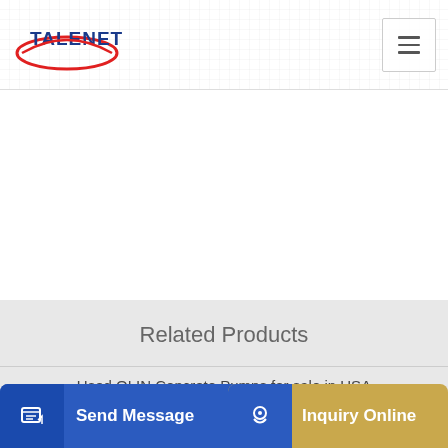TALENET
Related Products
Used OLIN Concrete Pumps for sale in USA
high efficiency 60m3 hr mobile concrete batching plant
Send Message | Inquiry Online